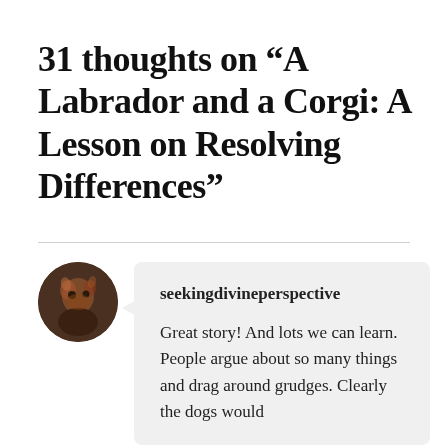31 thoughts on “A Labrador and a Corgi: A Lesson on Resolving Differences”
seekingdivineperspective

Great story! And lots we can learn. People argue about so many things and drag around grudges. Clearly the dogs would